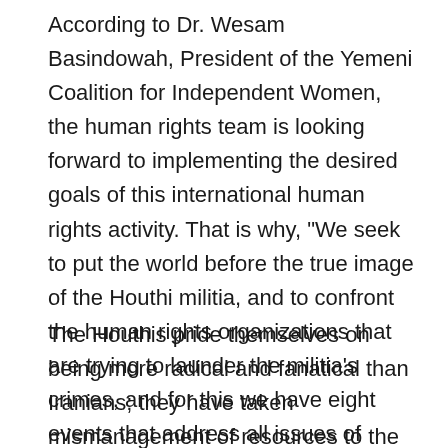According to Dr. Wesam Basindowah, President of the Yemeni Coalition for Independent Women, the human rights team is looking forward to implementing the desired goals of this international human rights activity. That is why, "We seek to put the world before the true image of the Houthi militia, and to confront the human rights organizations that are trying to launder the militia's crimes, and for this we have eight events that address all issues of minorities, women and Houthi crimes in all their forms."
The Houthis pride themselves on being more radical and fanatical than Iranians; they have taken mismanagement of resources to the next level. To support Iran's regional hegemony and theological